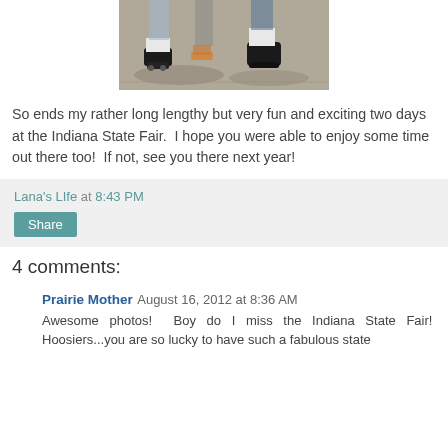[Figure (photo): Close-up photo of people's feet and shoes on pavement — roller skates, flip flops, and black shoes with white socks visible]
So ends my rather long lengthy but very fun and exciting two days at the Indiana State Fair.  I hope you were able to enjoy some time out there too!  If not, see you there next year!
Lana's LIfe at 8:43 PM
Share
4 comments:
Prairie Mother  August 16, 2012 at 8:36 AM
Awesome photos!  Boy do I miss the Indiana State Fair!  Hoosiers...you are so lucky to have such a fabulous state